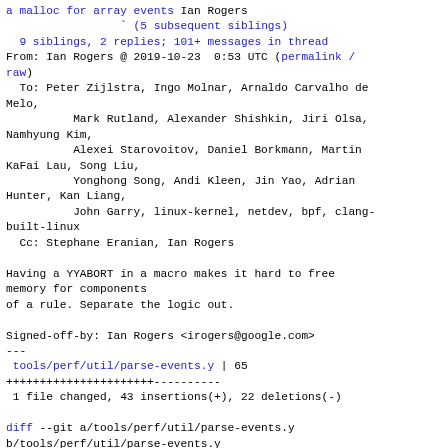a malloc for array events Ian Rogers
                  ` (5 subsequent siblings)
  9 siblings, 2 replies; 101+ messages in thread
From: Ian Rogers @ 2019-10-23  0:53 UTC (permalink /
raw)
  To: Peter Zijlstra, Ingo Molnar, Arnaldo Carvalho de
Melo,
          Mark Rutland, Alexander Shishkin, Jiri Olsa,
Namhyung Kim,
          Alexei Starovoitov, Daniel Borkmann, Martin
KaFai Lau, Song Liu,
          Yonghong Song, Andi Kleen, Jin Yao, Adrian
Hunter, Kan Liang,
          John Garry, linux-kernel, netdev, bpf, clang-
built-linux
  Cc: Stephane Eranian, Ian Rogers

Having a YYABORT in a macro makes it hard to free
memory for components
of a rule. Separate the logic out.

Signed-off-by: Ian Rogers <irogers@google.com>
---
 tools/perf/util/parse-events.y | 65
+++++++++++++++++++++-----------
 1 file changed, 43 insertions(+), 22 deletions(-)

diff --git a/tools/perf/util/parse-events.y
b/tools/perf/util/parse-events.y
index 27d6b187c9b1..26cb65798522 100644